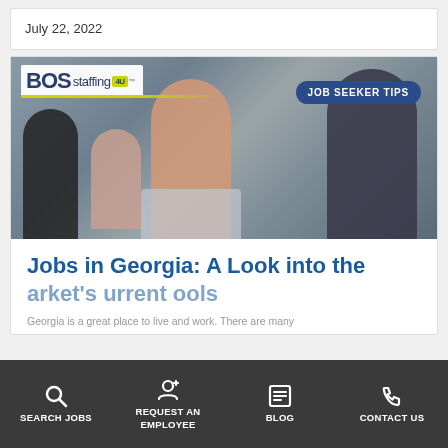July 22, 2022
[Figure (photo): BOS Staffing blog post header image showing four young professionals sitting together, smiling and working on a laptop. Overlay shows BOS staffing logo top-left and 'JOB SEEKER TIPS' badge top-right.]
Jobs in Georgia: A Look into the Market's Current Tools
Georgia is a great place to live and work. There are many
SEARCH JOBS   REQUEST AN EMPLOYEE   BLOG   CONTACT US